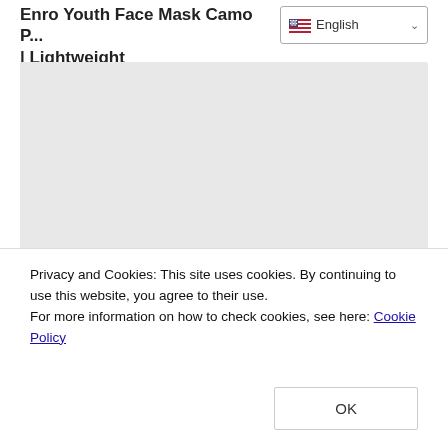Enro Youth Face Mask Camo P... | Lightweight
Ad  Enro US
[Figure (other): Gray placeholder rectangle representing an advertisement image area]
Privacy and Cookies: This site uses cookies. By continuing to use this website, you agree to their use.
For more information on how to check cookies, see here: Cookie Policy